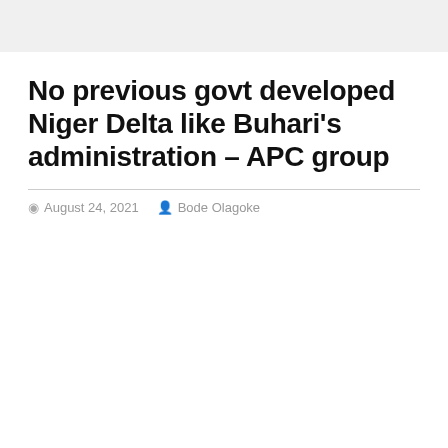No previous govt developed Niger Delta like Buhari's administration – APC group
August 24, 2021  Bode Olagoke